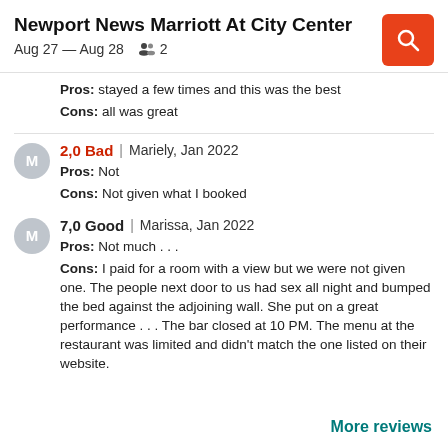Newport News Marriott At City Center
Aug 27 — Aug 28   2
Pros: stayed a few times and this was the best
Cons: all was great
2,0 Bad | Mariely, Jan 2022
Pros: Not
Cons: Not given what I booked
7,0 Good | Marissa, Jan 2022
Pros: Not much . . .
Cons: I paid for a room with a view but we were not given one. The people next door to us had sex all night and bumped the bed against the adjoining wall. She put on a great performance . . . The bar closed at 10 PM. The menu at the restaurant was limited and didn't match the one listed on their website.
More reviews